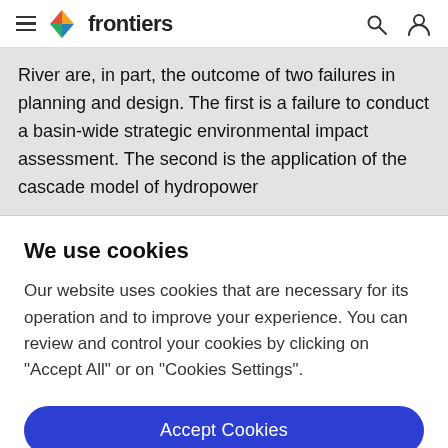frontiers
River are, in part, the outcome of two failures in planning and design. The first is a failure to conduct a basin-wide strategic environmental impact assessment. The second is the application of the cascade model of hydropower
We use cookies
Our website uses cookies that are necessary for its operation and to improve your experience. You can review and control your cookies by clicking on "Accept All" or on "Cookies Settings".
Accept Cookies
Cookies Settings